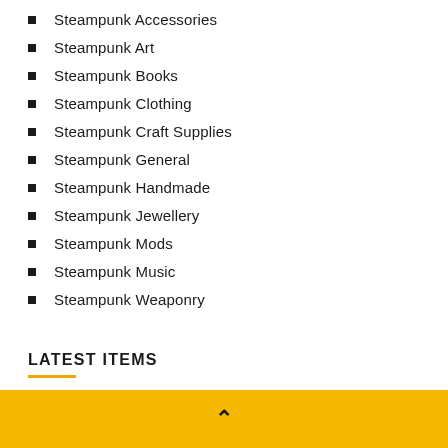Steampunk Accessories
Steampunk Art
Steampunk Books
Steampunk Clothing
Steampunk Craft Supplies
Steampunk General
Steampunk Handmade
Steampunk Jewellery
Steampunk Mods
Steampunk Music
Steampunk Weaponry
LATEST ITEMS
▲